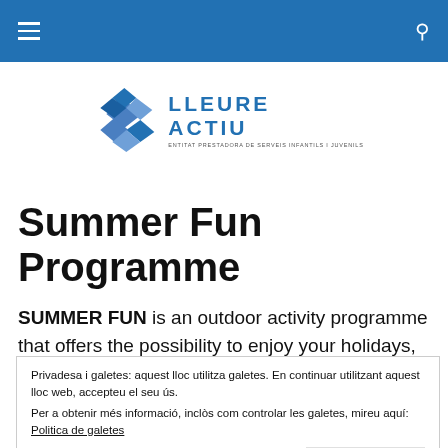Navigation bar with hamburger menu and search icon
[Figure (logo): Lleure Actiu logo with blue diamond/cross shapes and text 'LLEURE ACTIU - ENTITAT PRESTADORA DE SERVEIS INFANTILS I JUVENILS']
Summer Fun Programme
SUMMER FUN is an outdoor activity programme that offers the possibility to enjoy your holidays, not only with
Privadesa i galetes: aquest lloc utilitza galetes. En continuar utilitzant aquest lloc web, accepteu el seu ús.
Per a obtenir més informació, inclòs com controlar les galetes, mireu aquí: Politica de galetes
Tanca i accepta
enjoying the sea. Our philosophy is an education based on